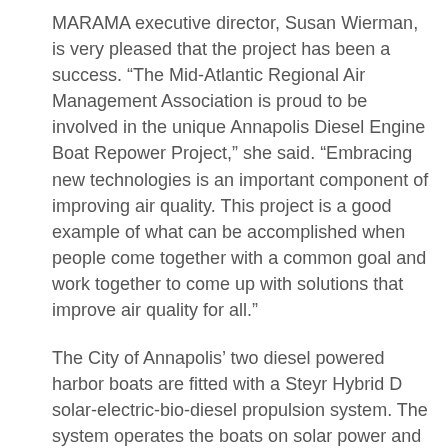MARAMA executive director, Susan Wierman, is very pleased that the project has been a success. “The Mid-Atlantic Regional Air Management Association is proud to be involved in the unique Annapolis Diesel Engine Boat Repower Project,” she said. “Embracing new technologies is an important component of improving air quality. This project is a good example of what can be accomplished when people come together with a common goal and work together to come up with solutions that improve air quality for all.”
The City of Annapolis’ two diesel powered harbor boats are fitted with a Steyr Hybrid D solar-electric-bio-diesel propulsion system. The system operates the boats on solar power and batteries for up to three hours at speeds up to six knots without a requirement to turn the diesel engine on. Three-quarters of the harbor is subject to a six knot speed limit imposed by state law. By using emergent solar and renewable fuel technologies fuel consumption is reduced by up to 50% and emissions by over 50% in a given period.
Because of the new engines, in low speed situations, the diesel engine will not even be required. This is a key element in the program as ninety percent of the harbor